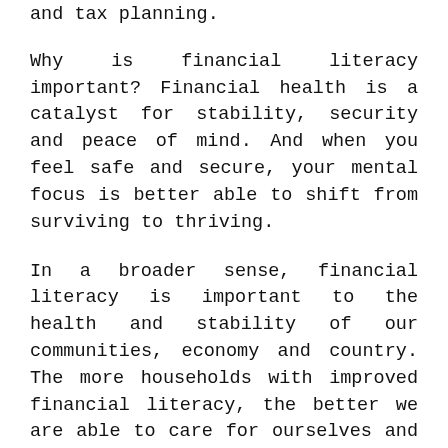and tax planning.
Why is financial literacy important? Financial health is a catalyst for stability, security and peace of mind. And when you feel safe and secure, your mental focus is better able to shift from surviving to thriving.
In a broader sense, financial literacy is important to the health and stability of our communities, economy and country. The more households with improved financial literacy, the better we are able to care for ourselves and those around us.
Keys to increasing financial literacy:
• Keep...